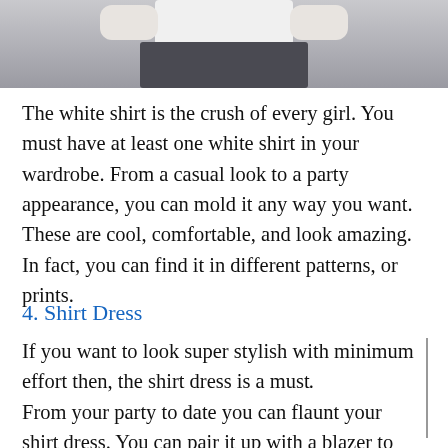[Figure (photo): Partial photo of a person wearing a white shirt and dark skirt, showing the torso and lower body area against a grey background.]
The white shirt is the crush of every girl. You must have at least one white shirt in your wardrobe. From a casual look to a party appearance, you can mold it any way you want. These are cool, comfortable, and look amazing. In fact, you can find it in different patterns, or prints.
4. Shirt Dress
If you want to look super stylish with minimum effort then, the shirt dress is a must. From your party to date you can flaunt your shirt dress. You can pair it up with a blazer to give it a more stylish look.